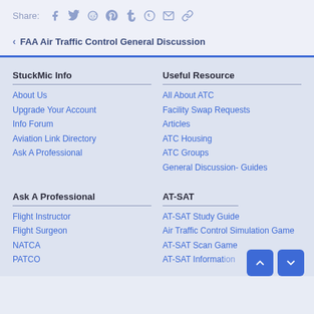Share: [social icons: facebook, twitter, reddit, pinterest, tumblr, whatsapp, email, link]
< FAA Air Traffic Control General Discussion
StuckMic Info
About Us
Upgrade Your Account
Info Forum
Aviation Link Directory
Ask A Professional
Useful Resource
All About ATC
Facility Swap Requests
Articles
ATC Housing
ATC Groups
General Discussion- Guides
Ask A Professional
Flight Instructor
Flight Surgeon
NATCA
PATCO
AT-SAT
AT-SAT Study Guide
Air Traffic Control Simulation Game
AT-SAT Scan Game
AT-SAT Information